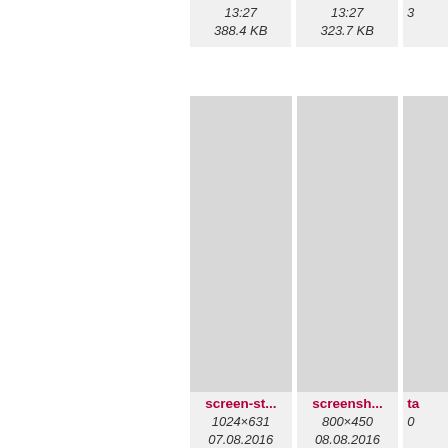[Figure (screenshot): File browser/gallery grid showing image thumbnails with filenames, dimensions, dates, times, and file sizes. Partial top row shows times 13:27 and sizes 388.4 KB and 323.7 KB. Middle row shows p8112015... (1250×1447, 11.08.2016, 13:27, 361.9 KB) and p8112016... (1500×1107, 11.08.2016, 13:27, 386.2 KB) and partial third item starting with 're'. Bottom row shows screen-st... (1024×631, 07.08.2016, 19:18, 78.2 KB) and screensh... (800×450, 08.08.2016, 06:07, 127.8 KB) and partial third item starting with 'ta'.]